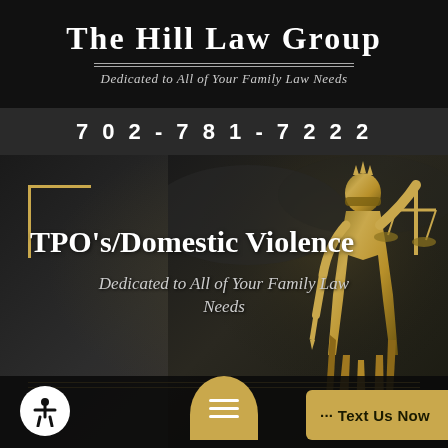[Figure (logo): The Hill Law Group logo with decorative double-line divider]
The Hill Law Group
Dedicated to All of Your Family Law Needs
702-781-7222
[Figure (photo): Background photo of Lady Justice statue in golden tones against dark stormy sky with gold corner bracket decoration]
TPO's/Domestic Violence
Dedicated to All of Your Family Law Needs
[Figure (infographic): Bottom toolbar with accessibility button (white circle with person icon), gold chat button (rounded top with three horizontal lines), and gold 'Text Us Now' button]